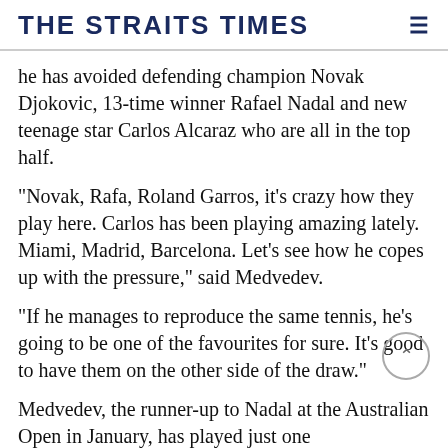THE STRAITS TIMES
he has avoided defending champion Novak Djokovic, 13-time winner Rafael Nadal and new teenage star Carlos Alcaraz who are all in the top half.
"Novak, Rafa, Roland Garros, it's crazy how they play here. Carlos has been playing amazing lately. Miami, Madrid, Barcelona. Let's see how he copes up with the pressure," said Medvedev.
"If he manages to reproduce the same tennis, he's going to be one of the favourites for sure. It's good to have them on the other side of the draw."
Medvedev, the runner-up to Nadal at the Australian Open in January, has played just one